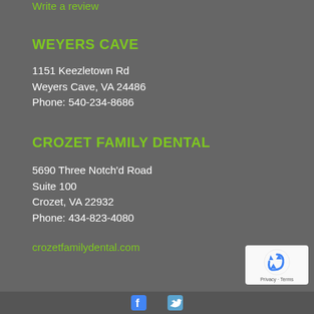Write a review
WEYERS CAVE
1151 Keezletown Rd
Weyers Cave, VA 24486
Phone: 540-234-8686
CROZET FAMILY DENTAL
5690 Three Notch'd Road
Suite 100
Crozet, VA 22932
Phone: 434-823-4080
crozetfamilydental.com
[Figure (logo): reCAPTCHA badge with blue recycling-style arrows logo, Privacy and Terms links]
Facebook and Twitter social media icons